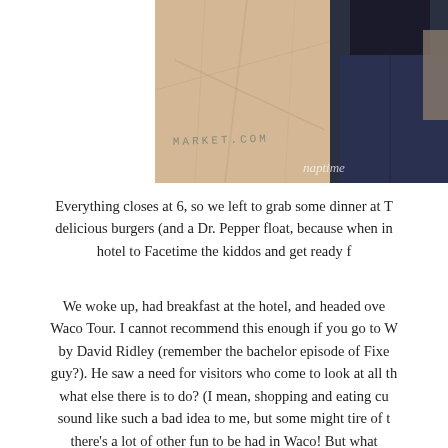[Figure (photo): A photo showing a paper shopping bag with text 'MARKET.COM' printed on it, and a person wearing dark jeans standing behind it. A watermark 'naptime' is visible in the lower right corner.]
Everything closes at 6, so we left to grab some dinner at T… delicious burgers (and a Dr. Pepper float, because when in… hotel to Facetime the kiddos and get ready f…
We woke up, had breakfast at the hotel, and headed ove… Waco Tour. I cannot recommend this enough if you go to W… by David Ridley (remember the bachelor episode of Fixe… guy?). He saw a need for visitors who come to look at all th… what else there is to do? (I mean, shopping and eating cu… sound like such a bad idea to me, but some might tire of t… there's a lot of other fun to be had in Waco! But what… incorporate a lot of the Fixer Upper fun stuff into the tour a… Co – didn't get to see my buddy Clint – though he'd pr… Georgia last summer – ha! I kid, he's the nicest guy that e…